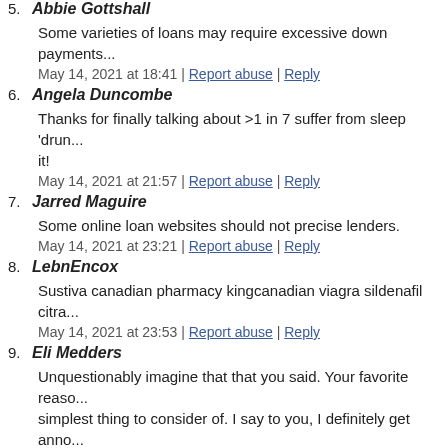5. Abbie Gottshall
Some varieties of loans may require excessive down payments...
May 14, 2021 at 18:41 | Report abuse | Reply
6. Angela Duncombe
Thanks for finally talking about >1 in 7 suffer from sleep 'drun... it!
May 14, 2021 at 21:57 | Report abuse | Reply
7. Jarred Maguire
Some online loan websites should not precise lenders.
May 14, 2021 at 23:21 | Report abuse | Reply
8. LebnEncox
Sustiva canadian pharmacy kingcanadian viagra sildenafil citra...
May 14, 2021 at 23:53 | Report abuse | Reply
9. Eli Medders
Unquestionably imagine that that you said. Your favorite reaso... simplest thing to consider of. I say to you, I definitely get anno... people think about worries that they plainly do not recognize a...